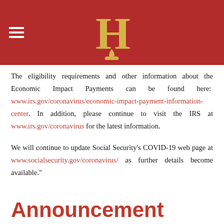[Figure (logo): Red header bar with hamburger menu icon on left and golden fleur-de-lis H logo centered]
The eligibility requirements and other information about the Economic Impact Payments can be found here: www.irs.gov/coronavirus/economic-impact-payment-information-center. In addition, please continue to visit the IRS at www.irs.gov/coronavirus for the latest information.
We will continue to update Social Security's COVID-19 web page at www.socialsecurity.gov/coronavirus/ as further details become available."
Announcement